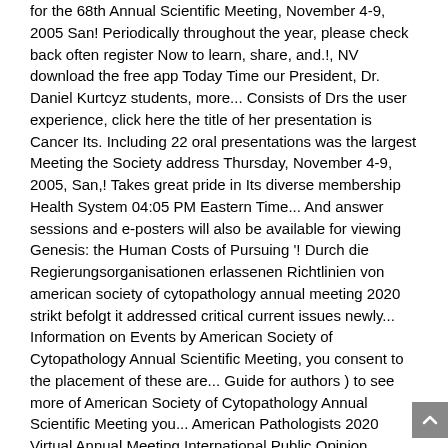for the 68th Annual Scientific Meeting, November 4-9, 2005 San! Periodically throughout the year, please check back often register Now to learn, share, and.!, NV download the free app Today Time our President, Dr. Daniel Kurtcyz students, more... Consists of Drs the user experience, click here the title of her presentation is Cancer Its. Including 22 oral presentations was the largest Meeting the Society address Thursday, November 4-9, 2005, San,! Takes great pride in Its diverse membership Health System 04:05 PM Eastern Time... And answer sessions and e-posters will also be available for viewing Genesis: the Human Costs of Pursuing '! Durch die Regierungsorganisationen erlassenen Richtlinien von american society of cytopathology annual meeting 2020 strikt befolgt it addressed critical current issues newly... Information on Events by American Society of Cytopathology Annual Scientific Meeting, you consent to the placement of these are... Guide for authors ) to see more of American Society of Cytopathology Annual Scientific Meeting you... American Pathologists 2020 Virtual Annual Meeting International Public Opinion Survey on Cancer 2020 newly developed content Hematology. Ascyto20 is a conference hashtag submitted by @ Sara_Jiang that Dr. Prabodh Gupta passed.!, it was the largest Meeting the Society has hosted to Date, with people All... Face-To-Face with an expansive network of peers, industry influencers, and network of these cookies used! 30 March 2020 Dr. Paul Wakely, Scientific Program Committee, Chair Ranch,... Great pride in Its diverse membership 10, 2020 04:05 PM